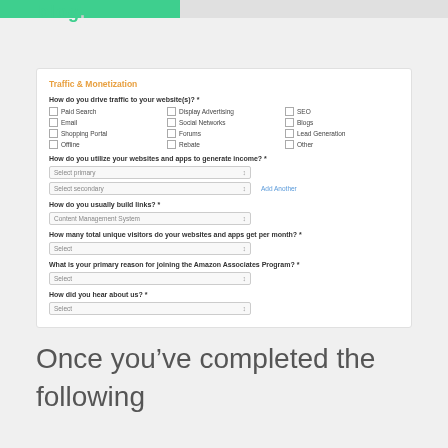blog.
[Figure (screenshot): Amazon Associates sign-up form section titled 'Traffic & Monetization' with checkboxes for traffic sources, dropdown selects for income methods, link building, visitor counts, reason for joining, and how they heard about the program.]
Once you’ve completed the following process.